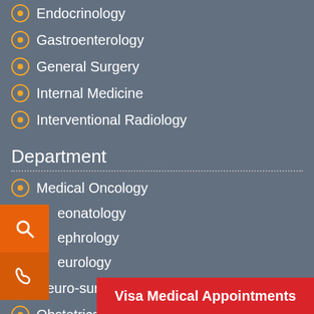Endocrinology
Gastroenterology
General Surgery
Internal Medicine
Interventional Radiology
Department
Medical Oncology
Neonatology
Nephrology
Neurology
Neuro-surgery
Obstetrics and Gynaecology
Ophthalmology
Orthopaedics
Physiotherapy and Rehabilitation
Visa Medical Appointments